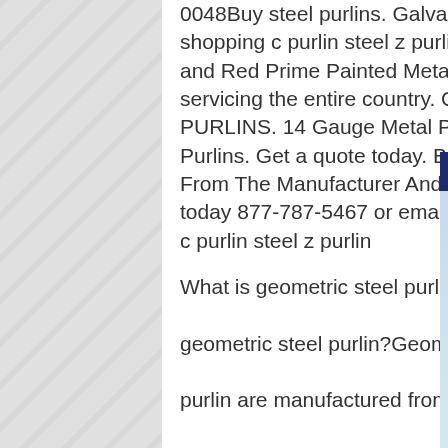0048Buy steel purlins. Galvanized metal c purlins and z shopping c purlin steel z purlinGalvanized Metal Purlins and Red Prime Painted Metal Purlins. Route trucks servicing the entire country. Call 8 PURLINS. 14 Gauge Metal Purlin Purlins. Get a quote today. Buy D From The Manufacturer And Save today 877-787-5467 or email us s c purlin steel z purlin
[Figure (other): Customer service chat popup with '7X24 Online' header in navy blue, photo of a woman wearing a headset smiling, text 'Hello,may I help you?' and a yellow 'Get Latest Price' button]
What is geometric steel purlin?W geometric steel purlin?Geometric Steels purlin are manufactured from high tensile steel for increased strength, reduced weight and long service life. C PURLIN C Purlins are available in